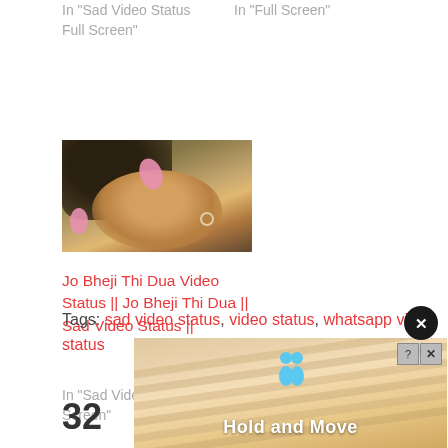In "Sad Video Status Full Screen"
In "Full Screen"
[Figure (photo): Thumbnail image of a person with dark hair and a nose ring, pink floral elements visible]
Jo Bheji Thi Dua Video Status || Jo Bheji Thi Dua || Sad Video Status ||
In "Sad Video Status Full Screen"
Tags: sad video status, video status, whatsapp video status
[Figure (screenshot): Advertisement banner showing blue figures and text 'Hold and Move' with close button]
32